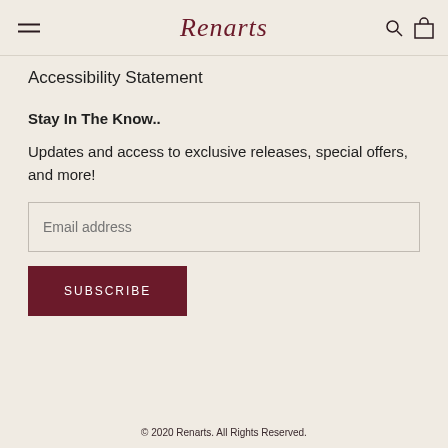Renarts
Accessibility Statement
Stay In The Know..
Updates and access to exclusive releases, special offers, and more!
Email address
SUBSCRIBE
© 2020 Renarts. All Rights Reserved.